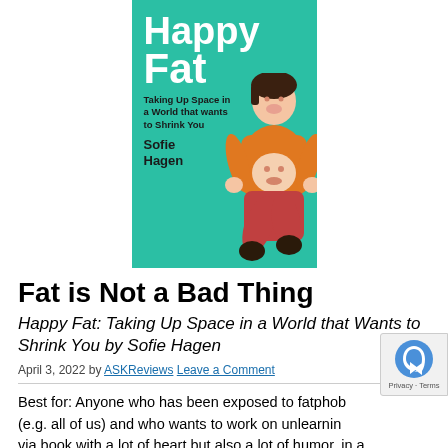[Figure (photo): Book cover of 'Happy Fat: Taking Up Space in a World that Wants to Shrink You' by Sofie Hagen. Teal/green background with white bold title text, subtitle in black, author name in black bold, and a photo of a woman in an orange top and red pants seated on a stool.]
Fat is Not a Bad Thing
Happy Fat: Taking Up Space in a World that Wants to Shrink You by Sofie Hagen
April 3, 2022 by ASKReviews Leave a Comment
Best for: Anyone who has been exposed to fatphob (e.g. all of us) and who wants to work on unlearning via book with a lot of heart but also a lot of humor. In a